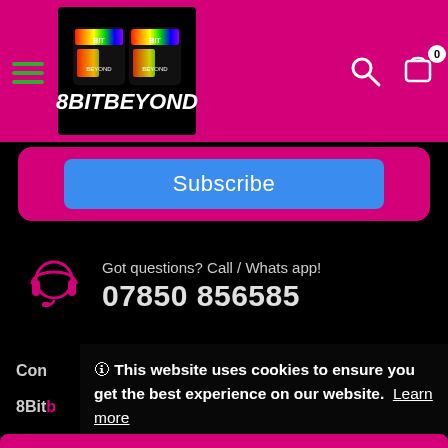8BITBEYOND
Subscribe
Got questions? Call / Whats app!
07850 856585
Con
🛈 This website uses cookies to ensure you get the best experience on our website. Learn more
8BitB
Got it!